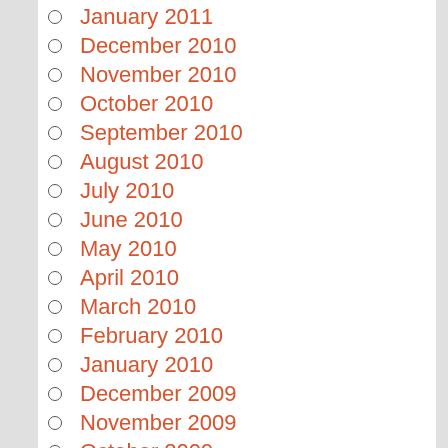January 2011
December 2010
November 2010
October 2010
September 2010
August 2010
July 2010
June 2010
May 2010
April 2010
March 2010
February 2010
January 2010
December 2009
November 2009
October 2009